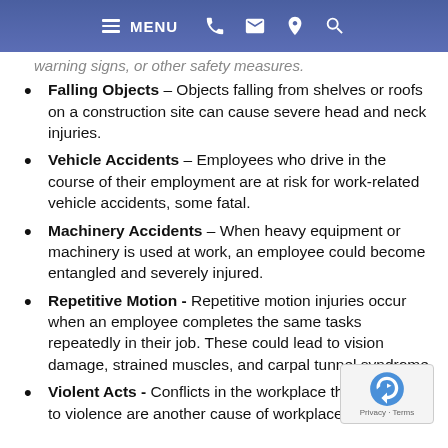MENU
warning signs, or other safety measures.
Falling Objects – Objects falling from shelves or roofs on a construction site can cause severe head and neck injuries.
Vehicle Accidents – Employees who drive in the course of their employment are at risk for work-related vehicle accidents, some fatal.
Machinery Accidents – When heavy equipment or machinery is used at work, an employee could become entangled and severely injured.
Repetitive Motion - Repetitive motion injuries occur when an employee completes the same tasks repeatedly in their job. These could lead to vision damage, strained muscles, and carpal tunnel syndrome.
Violent Acts - Conflicts in the workplace that... to violence are another cause of workplace...